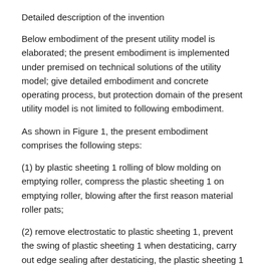Detailed description of the invention
Below embodiment of the present utility model is elaborated; the present embodiment is implemented under premised on technical solutions of the utility model; give detailed embodiment and concrete operating process, but protection domain of the present utility model is not limited to following embodiment.
As shown in Figure 1, the present embodiment comprises the following steps:
(1) by plastic sheeting 1 rolling of blow molding on emptying roller, compress the plastic sheeting 1 on emptying roller, blowing after the first reason material roller pats;
(2) remove electrostatic to plastic sheeting 1, prevent the swing of plastic sheeting 1 when destaticing, carry out edge sealing after destaticing, the plastic sheeting 1 after edge sealing is the multiple polybag of continuous print; If need colored printing, the plastic sheeting 1 after edge sealing carries out colored printing, the word that printing needs or figure, again through the second reason material